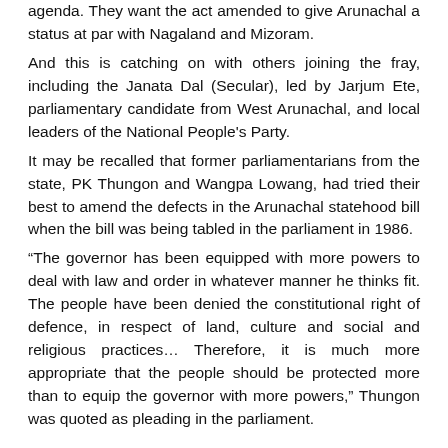agenda. They want the act amended to give Arunachal a status at par with Nagaland and Mizoram.
And this is catching on with others joining the fray, including the Janata Dal (Secular), led by Jarjum Ete, parliamentary candidate from West Arunachal, and local leaders of the National People's Party.
It may be recalled that former parliamentarians from the state, PK Thungon and Wangpa Lowang, had tried their best to amend the defects in the Arunachal statehood bill when the bill was being tabled in the parliament in 1986.
“The governor has been equipped with more powers to deal with law and order in whatever manner he thinks fit. The people have been denied the constitutional right of defence, in respect of land, culture and social and religious practices… Therefore, it is much more appropriate that the people should be protected more than to equip the governor with more powers,” Thungon was quoted as pleading in the parliament.